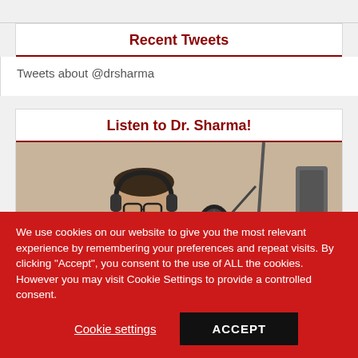Recent Tweets
Tweets about @drsharma
Listen to Dr. Sharma!
[Figure (photo): Man wearing headphones sitting in front of a studio microphone, wearing a red sweater. Overlay text reads 'Listen to Dr. Sharma's']
We use cookies on our website to give you the most relevant experience by remembering your preferences and repeat visits. By clicking "Accept", you consent to the use of ALL the cookies. However you may visit Cookie Settings to provide a controlled consent.
Cookie settings   ACCEPT